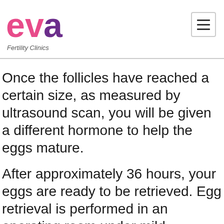eva Fertility Clinics
Once the follicles have reached a certain size, as measured by ultrasound scan, you will be given a different hormone to help the eggs mature.
After approximately 36 hours, your eggs are ready to be retrieved. Egg retrieval is performed in an operating room under mild anaesthesia (sedation) so that you will be completely